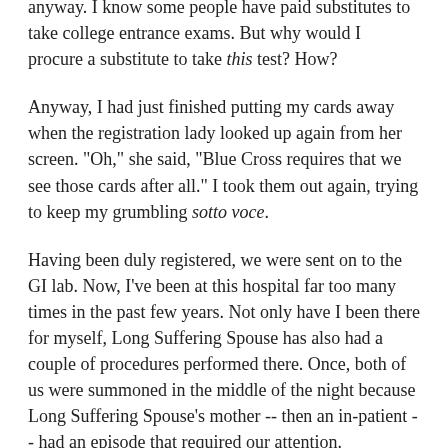anyway. I know some people have paid substitutes to take college entrance exams. But why would I procure a substitute to take this test? How?
Anyway, I had just finished putting my cards away when the registration lady looked up again from her screen. "Oh," she said, "Blue Cross requires that we see those cards after all." I took them out again, trying to keep my grumbling sotto voce.
Having been duly registered, we were sent on to the GI lab. Now, I've been at this hospital far too many times in the past few years. Not only have I been there for myself, Long Suffering Spouse has also had a couple of procedures performed there. Once, both of us were summoned in the middle of the night because Long Suffering Spouse's mother -- then an in-patient -- had an episode that required our attention.
That particular hospital has been under construction since 1958. Most of the hospitals in this area are under constant construction. They're like dinosaurs: They keep growing as